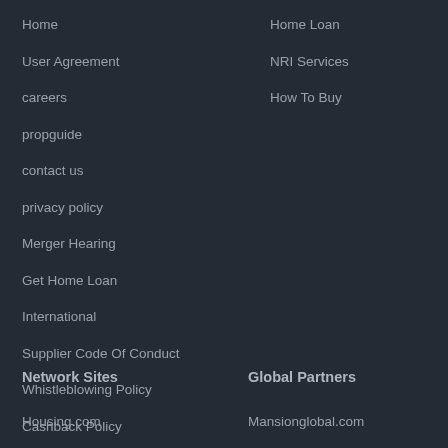Home
Home Loan
User Agreement
NRI Services
careers
How To Buy
propguide
contact us
privacy policy
Merger Hearing
Get Home Loan
International
Supplier Code Of Conduct
Whistleblowing Policy
Cashback Policy
Network Sites
Global Partners
Housing.com
Mansionglobal.com